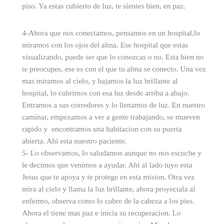piso. Ya estas cubierto de luz, te sientes bien, en paz.
4-Ahora que nos conectamos, pensamos en un hospital,lo miramos con los ojos del alma. Ese hospital que estas visualizando, puede ser que lo conozcas o no. Esta bien no te preocupes, ese es con el que tu alma se conecto. Una vez mas miramos al cielo, y bajamos la luz brillante al hospital, lo cubrimos con esa luz desde arriba a abajo. Entramos a sus corredores y lo llenamos de luz. En nuestro caminar, empezamos a ver a gente trabajando, se mueven rapido y  encontramos una habitacion con su puerta abierta. Ahi esta nuestro paciente.
5- Lo observamos, lo saludamos aunque no nos escuche y le decimos que venimos a ayudar. Ahi al lado tuyo esta Jesus que te apoya y te protege en esta mision. Otra vez mira al cielo y llama la luz brillante, ahora proyectala al enfermo, observa como lo cubre de la cabeza a los pies. Ahora el tiene mas paz e inicia su recuperacion. Lo observamos dos veces que respira mejor. Mira los